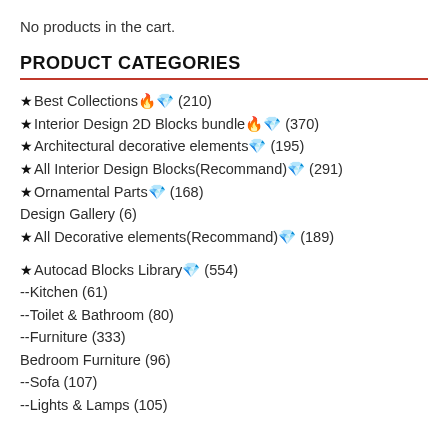No products in the cart.
PRODUCT CATEGORIES
★Best Collections🔥💎 (210)
★Interior Design 2D Blocks bundle🔥💎 (370)
★Architectural decorative elements💎 (195)
★All Interior Design Blocks(Recommand)💎 (291)
★Ornamental Parts💎 (168)
Design Gallery (6)
★All Decorative elements(Recommand)💎 (189)
★Autocad Blocks Library💎 (554)
--Kitchen (61)
--Toilet & Bathroom (80)
--Furniture (333)
Bedroom Furniture (96)
--Sofa (107)
--Lights & Lamps (105)